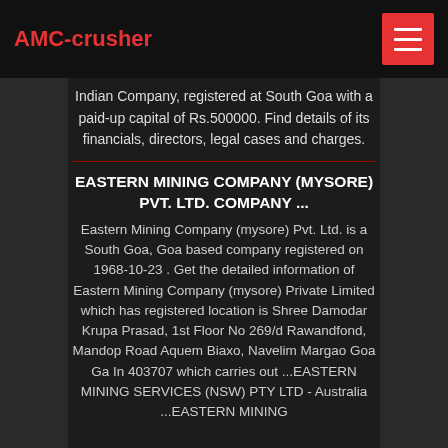AMC-crusher
Indian Company, registered at South Goa with a paid-up capital of Rs.500000. Find details of its financials, directors, legal cases and charges.
EASTERN MINING COMPANY (MYSORE) PVT. LTD. COMPANY ...
Eastern Mining Company (mysore) Pvt. Ltd. is a South Goa, Goa based company registered on 1968-10-23 . Get the detailed information of Eastern Mining Company (mysore) Private Limited which has registered location is Shree Damodar Krupa Prasad, 1st Floor No 269/d Rawandfond, Mandop Road Aquem Biaxo, Navelim Margao Goa Ga In 403707 which carries out ...EASTERN MINING SERVICES (NSW) PTY LTD - Australia ...EASTERN MINING